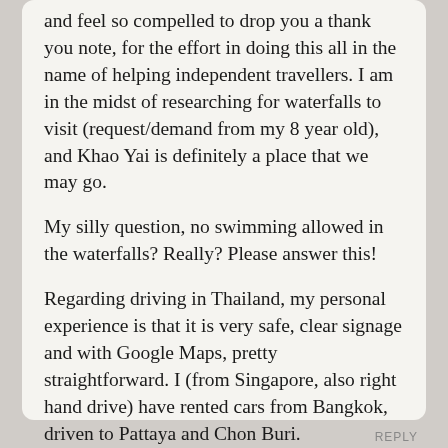and feel so compelled to drop you a thank you note, for the effort in doing this all in the name of helping independent travellers. I am in the midst of researching for waterfalls to visit (request/demand from my 8 year old), and Khao Yai is definitely a place that we may go.

My silly question, no swimming allowed in the waterfalls? Really? Please answer this!

Regarding driving in Thailand, my personal experience is that it is very safe, clear signage and with Google Maps, pretty straightforward. I (from Singapore, also right hand drive) have rented cars from Bangkok, driven to Pattaya and Chon Buri.
REPLY